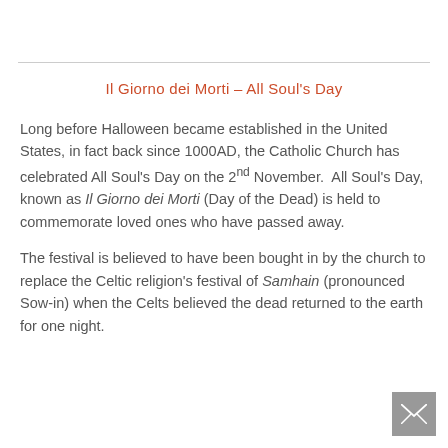Il Giorno dei Morti – All Soul's Day
Long before Halloween became established in the United States, in fact back since 1000AD, the Catholic Church has celebrated All Soul's Day on the 2nd November.  All Soul's Day, known as Il Giorno dei Morti (Day of the Dead) is held to commemorate loved ones who have passed away.
The festival is believed to have been bought in by the church to replace the Celtic religion's festival of Samhain (pronounced Sow-in) when the Celts believed the dead returned to the earth for one night.